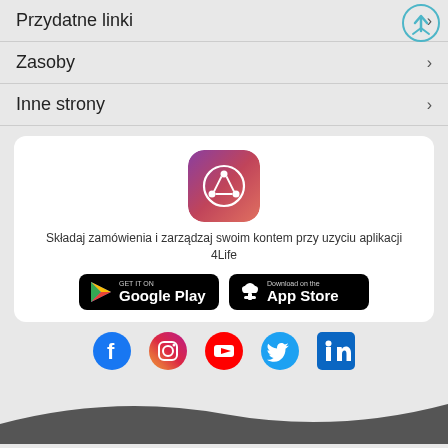Przydatne linki
Zasoby
Inne strony
[Figure (screenshot): White card with 4Life app icon (pink/purple gradient with share-nodes icon), text about ordering via app, Google Play and App Store download buttons]
Składaj zamówienia i zarządzaj swoim kontem przy użyciu aplikacji 4Life
[Figure (infographic): Social media icons row: Facebook, Instagram, YouTube, Twitter, LinkedIn]